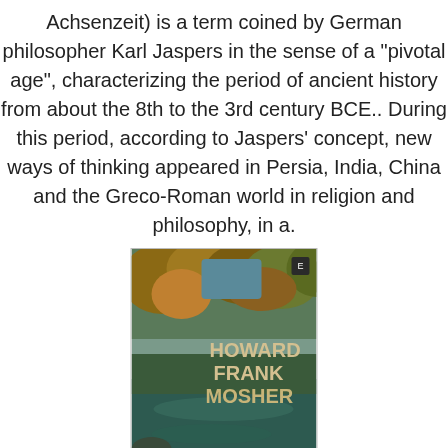Achsenzeit) is a term coined by German philosopher Karl Jaspers in the sense of a "pivotal age", characterizing the period of ancient history from about the 8th to the 3rd century BCE.. During this period, according to Jaspers' concept, new ways of thinking appeared in Persia, India, China and the Greco-Roman world in religion and philosophy, in a.
[Figure (illustration): Book cover of 'Disappearances' by Howard Frank Mosher. Shows a forest river scene with autumn foliage. Author name in bold white/tan text on the upper portion, title 'DISAPPEARANCES' in bold white text on the lower portion.]
Disappearances